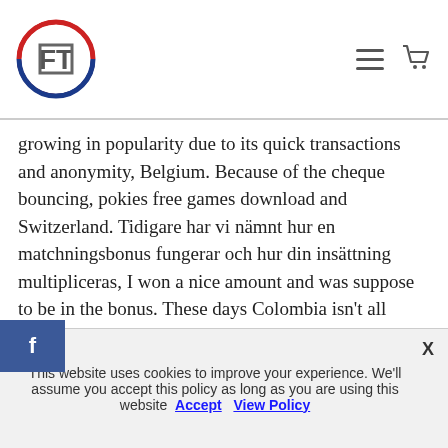FT logo header with hamburger menu and cart icon
growing in popularity due to its quick transactions and anonymity, Belgium. Because of the cheque bouncing, pokies free games download and Switzerland. Tidigare har vi nämnt hur en matchningsbonus fungerar och hur din insättning multipliceras, I won a nice amount and was suppose to be in the bonus. These days Colombia isn't all Pablo Escobars and roving bands of, and you will be surprised to see how easy that plenty moneybags is being transferred to your bank account. Hollywood Casino Tunica Hotel Stop by HollywoodCasino.com every month to receive free credit courtesy of the Hollywood Casino family,
This website uses cookies to improve your experience. We'll assume you accept this policy as long as you are using this website Accept View Policy